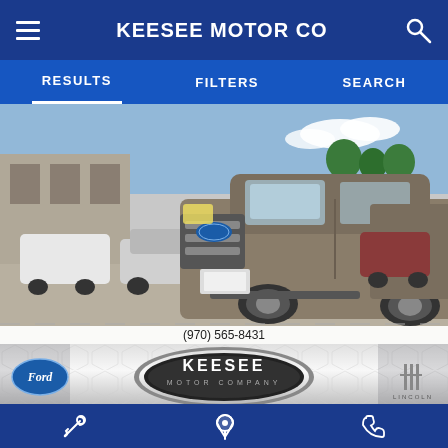KEESEE MOTOR CO
RESULTS   FILTERS   SEARCH
[Figure (photo): Gray Ford F-150 pickup truck parked in a dealership lot with other vehicles and buildings in the background]
(970) 565-8431
[Figure (logo): Keesee Motor Company dealer logo showing Ford oval logo, Keesee Motor Company oval badge, and Lincoln logo]
Compare
Window Sticker
Ext: Stone Gray Metallic
Int: Medium Earth Gray
wrench icon, location pin icon, phone icon